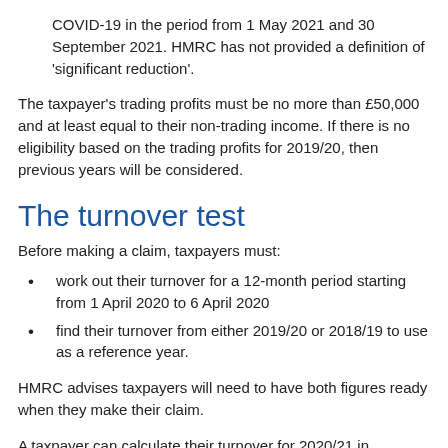COVID-19 in the period from 1 May 2021 and 30 September 2021. HMRC has not provided a definition of 'significant reduction'.
The taxpayer's trading profits must be no more than £50,000 and at least equal to their non-trading income. If there is no eligibility based on the trading profits for 2019/20, then previous years will be considered.
The turnover test
Before making a claim, taxpayers must:
work out their turnover for a 12-month period starting from 1 April 2020 to 6 April 2020
find their turnover from either 2019/20 or 2018/19 to use as a reference year.
HMRC advises taxpayers will need to have both figures ready when they make their claim.
A taxpayer can calculate their turnover for 2020/21 in